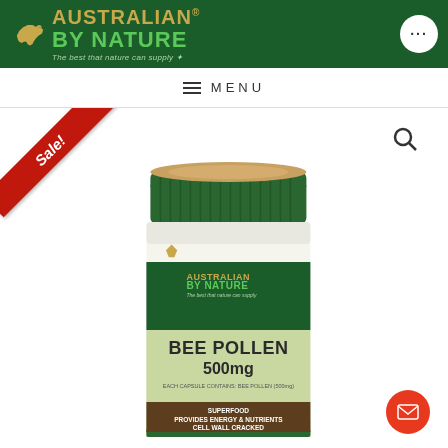[Figure (logo): Australian By Nature logo on dark green header with Australia map silhouette in gold, brand name in gold/green letters, tagline 'The best that nature can supply', and a circular menu button with ellipsis]
MENU
[Figure (photo): Product photo of Australian By Nature Bee Pollen 500mg supplement bottle with green cap, showing label with brand logo, 'BEE POLLEN 500mg', 'EACH CAPSULE CONTAINS: BEE POLLEN (500mg)', 'SUPERFOOD PROVIDES ENERGY & NUTRIENTS CELL WALL CRACKED'. Red Sale! ribbon banner in top-left corner. Search icon top-right. Red mail button bottom-right.]